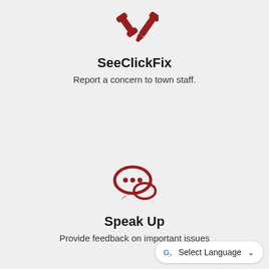[Figure (logo): Red wrench and screwdriver crossed tools icon for SeeClickFix]
SeeClickFix
Report a concern to town staff.
[Figure (logo): Red chat/speech bubbles icon for Speak Up]
Speak Up
Provide feedback on important issues